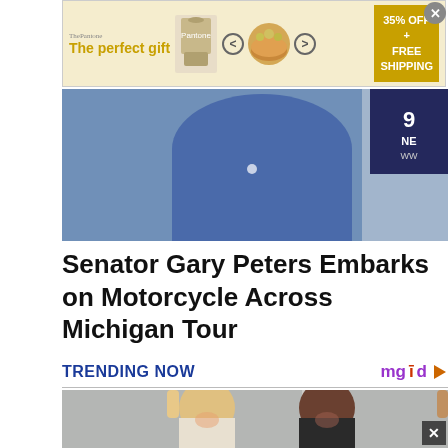[Figure (screenshot): Advertisement banner for 'The perfect gift' with bowl image, arrows, and 35% OFF + FREE SHIPPING promo]
[Figure (photo): Hero image showing a person in blue clothing, with a news channel badge (9 NEWS) visible on the right side]
Senator Gary Peters Embarks on Motorcycle Across Michigan Tour
TRENDING NOW
[Figure (photo): Two smiling women waving — one blonde, one with dark hair — in a decorative interior setting. mgid sponsored content thumbnail.]